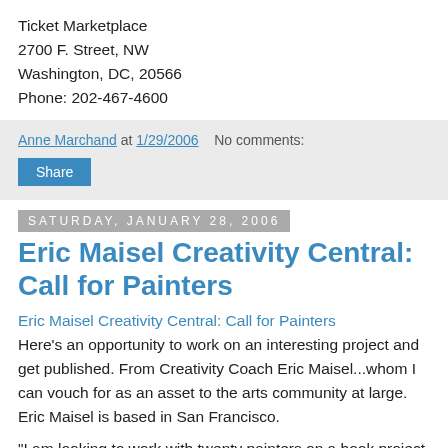Ticket Marketplace
2700 F. Street, NW
Washington, DC, 20566
Phone: 202-467-4600
Anne Marchand at 1/29/2006   No comments:
Share
Saturday, January 28, 2006
Eric Maisel Creativity Central: Call for Painters
Eric Maisel Creativity Central: Call for Painters
Here's an opportunity to work on an interesting project and get published. From Creativity Coach Eric Maisel...whom I can vouch for as an asset to the arts community at large. Eric Maisel is based in San Francisco.
"I am looking to work with twenty painters on a book project.